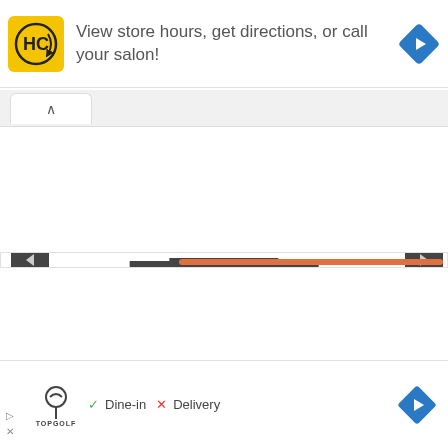[Figure (screenshot): Top advertisement banner with HC salon logo (yellow square with HC text and circular arrow), text 'View store hours, get directions, or call your salon!', and a blue diamond navigation arrow on the right. Small play and X icons on the left side.]
[Figure (screenshot): Browser interface showing a tab with chevron-up icon, a white content area with left and right dark navigation arrows, a 'Home' dark button centered, and a 'View web version' dark button below it. An orange scrollbar is visible at the bottom.]
[Figure (screenshot): Bottom advertisement banner with TopGolf logo, green checkmark 'Dine-in', red X 'Delivery', and a blue diamond navigation arrow on the right.]